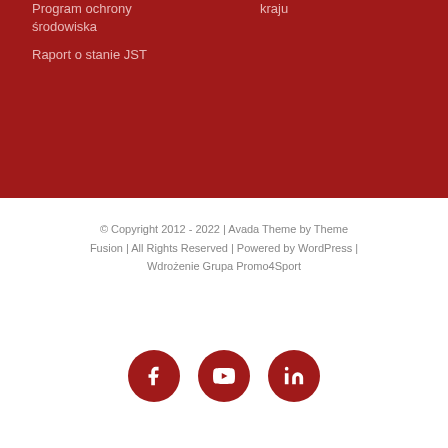Program ochrony środowiska
kraju
Raport o stanie JST
© Copyright 2012 - 2022  |  Avada Theme by Theme Fusion  |  All Rights Reserved  |  Powered by WordPress | Wdrożenie Grupa Promo4Sport
[Figure (illustration): Three social media icons: Facebook, YouTube, LinkedIn — white icons on dark red circular backgrounds]